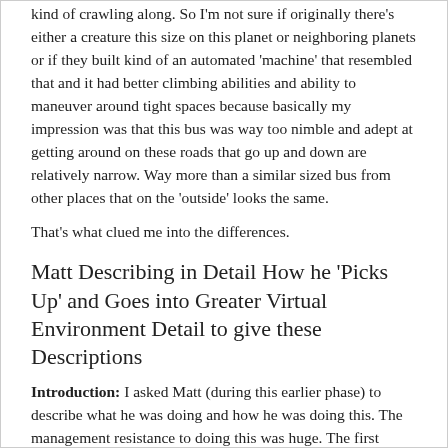kind of crawling along. So I'm not sure if originally there's either a creature this size on this planet or neighboring planets or if they built kind of an automated 'machine' that resembled that and it had better climbing abilities and ability to maneuver around tight spaces because basically my impression was that this bus was way too nimble and adept at getting around on these roads that go up and down are relatively narrow. Way more than a similar sized bus from other places that on the 'outside' looks the same.
That's what clued me into the differences.
Matt Describing in Detail How he 'Picks Up' and Goes into Greater Virtual Environment Detail to give these Descriptions
Introduction: I asked Matt (during this earlier phase) to describe what he was doing and how he was doing this. The management resistance to doing this was huge. The first version was 3 short paragraphs of 400+ words and